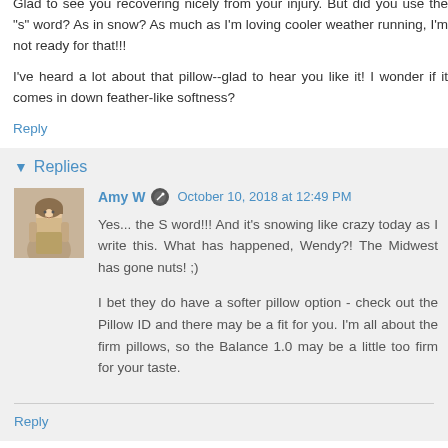Glad to see you recovering nicely from your injury. But did you use the "s" word? As in snow? As much as I'm loving cooler weather running, I'm not ready for that!!!
I've heard a lot about that pillow--glad to hear you like it! I wonder if it comes in down feather-like softness?
Reply
Replies
Amy W  October 10, 2018 at 12:49 PM
Yes... the S word!!! And it's snowing like crazy today as I write this. What has happened, Wendy?! The Midwest has gone nuts! ;)
I bet they do have a softer pillow option - check out the Pillow ID and there may be a fit for you. I'm all about the firm pillows, so the Balance 1.0 may be a little too firm for your taste.
Reply